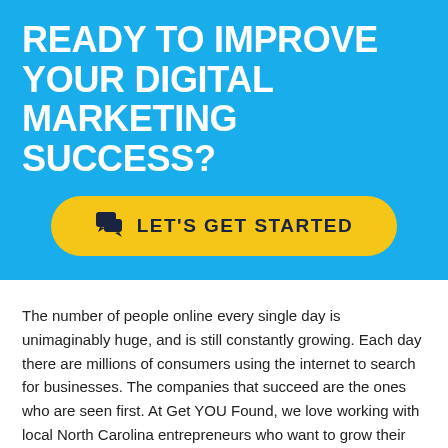READY TO IMPROVE YOUR DIGITAL MARKETING SUCCESS?
[Figure (other): Yellow pill-shaped CTA button with chat icon and text LET'S GET STARTED on blue background]
The number of people online every single day is unimaginably huge, and is still constantly growing. Each day there are millions of consumers using the internet to search for businesses. The companies that succeed are the ones who are seen first. At Get YOU Found, we love working with local North Carolina entrepreneurs who want to grow their businesses and strive to be seen by their ideal clients.
Our SEO products and services have proven to be...